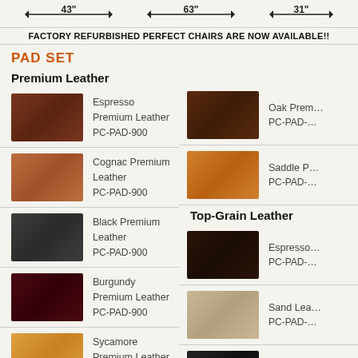[Figure (infographic): Three dimension arrows showing 43 inches, 63 inches, and 31 inches measurements]
FACTORY REFURBISHED PERFECT CHAIRS ARE NOW AVAILABLE!!
PAD SET
Premium Leather
Espresso Premium Leather PC-PAD-900
Cognac Premium Leather PC-PAD-900
Black Premium Leather PC-PAD-900
Burgundy Premium Leather PC-PAD-900
Sycamore Premium Leather PC-PAD-900
Oak Premium Leather PC-PAD-
Saddle Premium Leather PC-PAD-
Top-Grain Leather
Espresso Top-Grain Leather PC-PAD-
Sand Leather PC-PAD-
Black Leather PC-PAD-